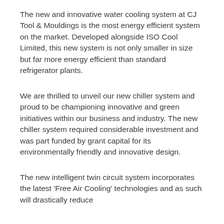The new and innovative water cooling system at CJ Tool & Mouldings is the most energy efficient system on the market. Developed alongside ISO Cool Limited, this new system is not only smaller in size but far more energy efficient than standard refrigerator plants.
We are thrilled to unveil our new chiller system and proud to be championing innovative and green initiatives within our business and industry. The new chiller system required considerable investment and was part funded by grant capital for its environmentally friendly and innovative design.
The new intelligent twin circuit system incorporates the latest 'Free Air Cooling' technologies and as such will drastically reduce